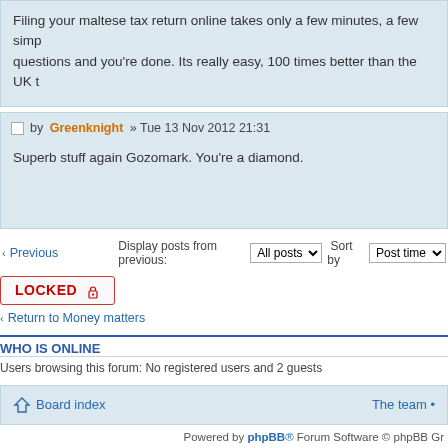Filing your maltese tax return online takes only a few minutes, a few simp questions and you're done. Its really easy, 100 times better than the UK t
by Greenknight » Tue 13 Nov 2012 21:31
Superb stuff again Gozomark. You're a diamond.
Display posts from previous: All posts  Sort by  Post time
Previous
LOCKED
Return to Money matters
WHO IS ONLINE
Users browsing this forum: No registered users and 2 guests
Board index
The team •
Powered by phpBB® Forum Software © phpBB Gr